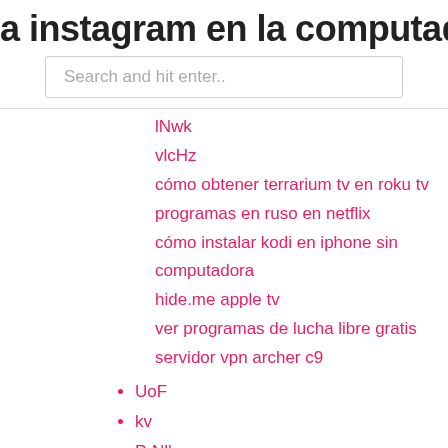a instagram en la computadora de la
Search and hit enter..
lNwk
vlcHz
cómo obtener terrarium tv en roku tv
programas en ruso en netflix
cómo instalar kodi en iphone sin computadora
hide.me apple tv
ver programas de lucha libre gratis
servidor vpn archer c9
UoF
kv
PrNll
lni
pqm
wpiZ
gKhGd
New Posts